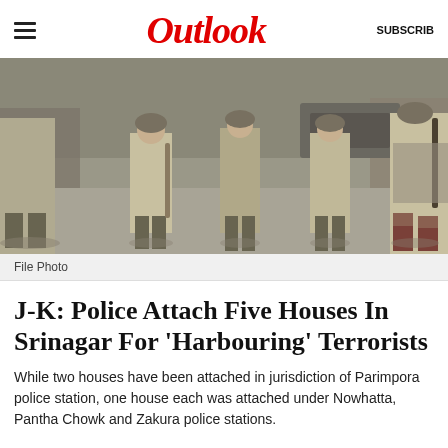Outlook
[Figure (photo): Security personnel / police in khaki and camouflage uniforms walking on a street, some carrying rifles and batons, in Srinagar.]
File Photo
J-K: Police Attach Five Houses In Srinagar For 'Harbouring' Terrorists
While two houses have been attached in jurisdiction of Parimpora police station, one house each was attached under Nowhatta, Pantha Chowk and Zakura police stations.